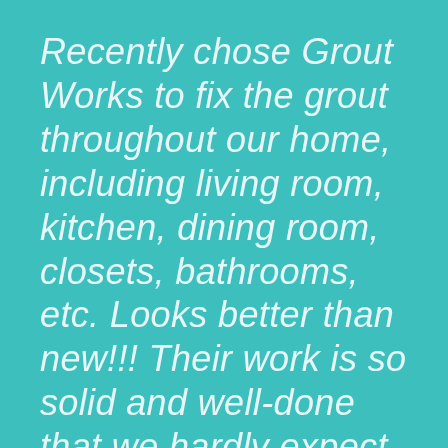Recently chose Grout Works to fix the grout throughout our home, including living room, kitchen, dining room, closets, bathrooms, etc. Looks better than new!!! Their work is so solid and well-done that we hardly expect to use the warranty that came with the service, but it is nice to have a great warranty to accompany the great work. Thank you to Peter, who began with the estimate, and to Matt and Chris and crew who came out and did!